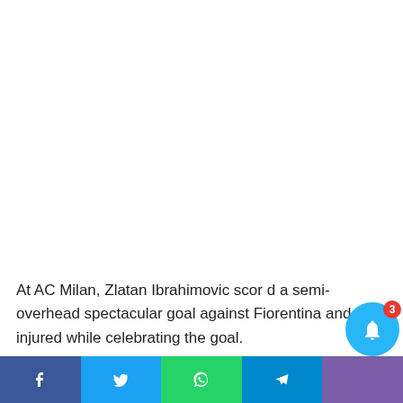[Figure (photo): Large white/blank image area at the top of the page]
At AC Milan, Zlatan Ibrahimovic scor d a semi-overhead spectacular goal against Fiorentina and got injured while celebrating the goal.
[Figure (screenshot): Social media share bar at the bottom with Facebook, Twitter, WhatsApp, Telegram, and purple icons, plus a notification bell with badge showing 3]